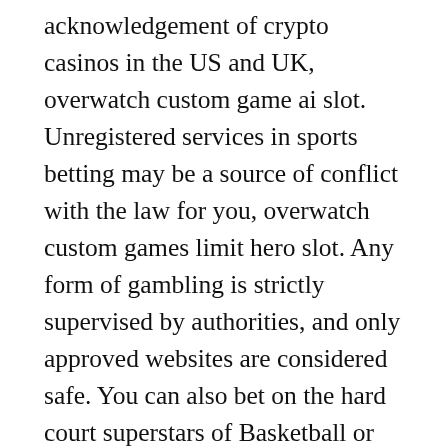acknowledgement of crypto casinos in the US and UK, overwatch custom game ai slot. Unregistered services in sports betting may be a source of conflict with the law for you, overwatch custom games limit hero slot. Any form of gambling is strictly supervised by authorities, and only approved websites are considered safe. You can also bet on the hard court superstars of Basketball or go with the odds for the top seeds in Tennis, overwatch custom game ai slot. Hockey and Golf are also available in the best Bitcoin sports betting in the UK as well as contact sports like Boxing, MMA, and UFC. If you use bitcoin to deposit betting money into your sportsbook account and withdraw your potential winnings, the